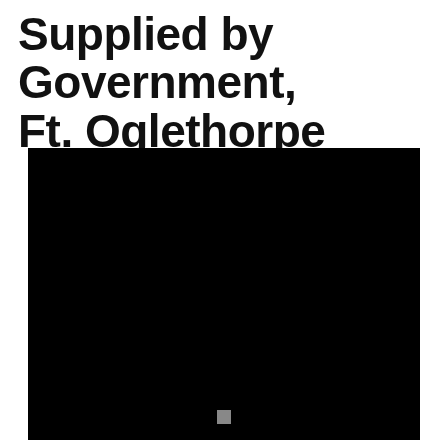Supplied by Government, Ft. Oglethorpe
[Figure (photo): A nearly fully black photograph, likely a historical or archival image that is severely underexposed or damaged, with a small gray square marker visible near the bottom center.]